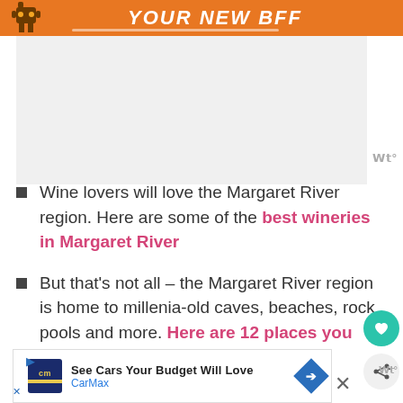[Figure (illustration): Orange banner at top with robot character and bold italic white text 'YOUR NEW BFF']
[Figure (other): Gray advertisement placeholder area with Wt logo in lower right]
Wine lovers will love the Margaret River region. Here are some of the best wineries in Margaret River
But that's not all – the Margaret River region is home to millenia-old caves, beaches, rock pools and more. Here are 12 places you won't want to miss
[Figure (other): CarMax advertisement banner at bottom: 'See Cars Your Budget Will Love' with CarMax logo and blue arrow icon]